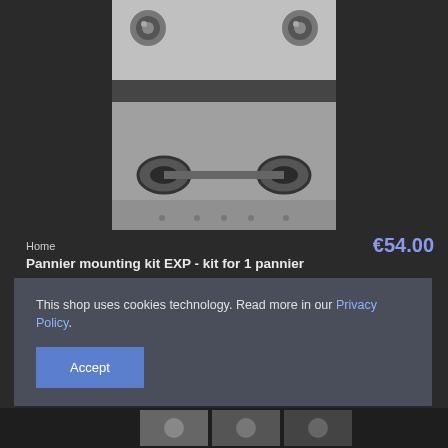[Figure (photo): Product photo of a Pannier mounting kit EXP showing metal panel with wheels at top corners and two oval handles at bottom, stainless steel finish]
Home
€54.00
Pannier mounting kit EXP - kit for 1 pannier
Add to cart
[Figure (photo): Partial product image visible below the main photo area]
This shop uses cookies technology. Read more in our Privacy Policy.
Accept
[Figure (photo): Thumbnail strip of product images at the bottom of the page]